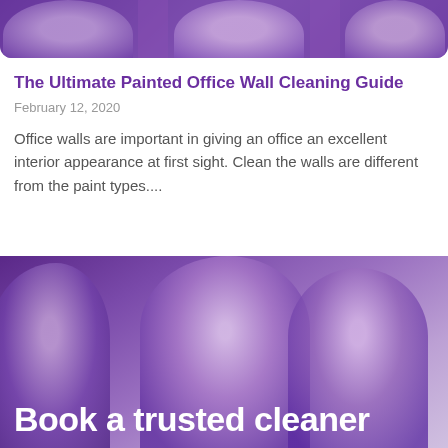[Figure (photo): Purple-toned banner image with cleaning staff at top of page, partially visible]
The Ultimate Painted Office Wall Cleaning Guide
February 12, 2020
Office walls are important in giving an office an excellent interior appearance at first sight. Clean the walls are different from the paint types....
[Figure (photo): Purple-overlaid photo of smiling cleaning staff (man and woman in aprons), with bold white text overlay reading 'Book a trusted cleaner']